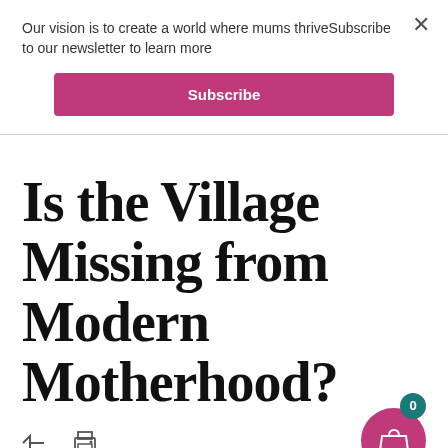Our vision is to create a world where mums thriveSubscribe to our newsletter to learn more
Subscribe
Is the Village Missing from Modern Motherhood?
The article teaser text begins below